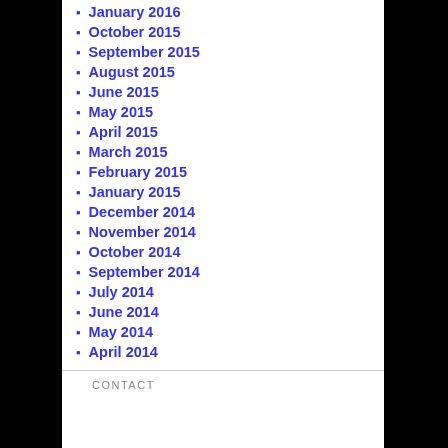January 2016
October 2015
September 2015
August 2015
June 2015
May 2015
April 2015
March 2015
February 2015
January 2015
December 2014
November 2014
October 2014
September 2014
July 2014
June 2014
May 2014
April 2014
CONTACT